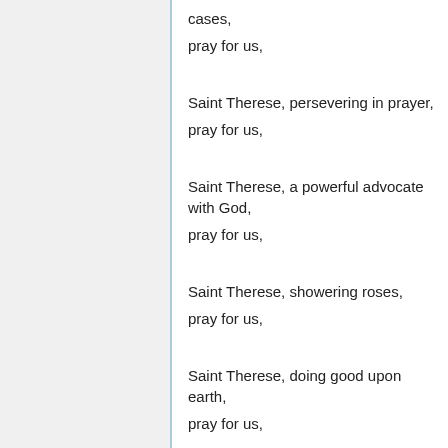cases,
pray for us,
Saint Therese, persevering in prayer,
pray for us,
Saint Therese, a powerful advocate with God,
pray for us,
Saint Therese, showering roses,
pray for us,
Saint Therese, doing good upon earth,
pray for us,